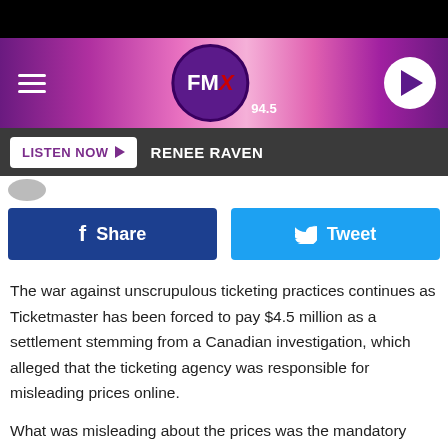[Figure (screenshot): FMX 94.5 radio station website header with pink/purple gradient background, hamburger menu icon on left, FMX logo in center, play button on right]
[Figure (screenshot): Listen Now button bar with dark grey background showing RENEE RAVEN DJ name]
[Figure (screenshot): Facebook Share and Twitter Tweet social sharing buttons]
The war against unscrupulous ticketing practices continues as Ticketmaster has been forced to pay $4.5 million as a settlement stemming from a Canadian investigation, which alleged that the ticketing agency was responsible for misleading prices online.
What was misleading about the prices was the mandatory fees that were added onto the advertised cost of the ticket. Canada's Competition Bureau determined (in a report